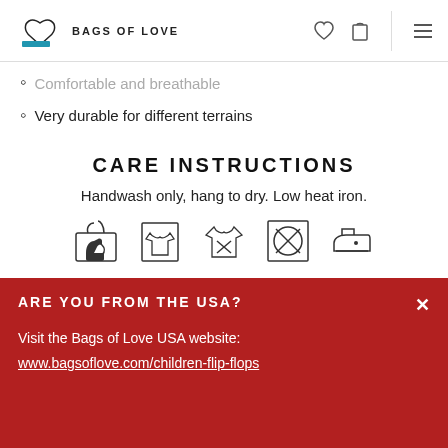BAGS OF LOVE
Comfortable and breathable
Very durable for different terrains
CARE INSTRUCTIONS
Handwash only, hang to dry. Low heat iron.
[Figure (illustration): Five laundry care symbols: handwash, hang dry shirt, do-not-tumble-dry shirt, do-not-dry (X circle in square), low heat iron. A partial iron icon is visible below.]
ARE YOU FROM THE USA?
Visit the Bags of Love USA website:
www.bagsoflove.com/children-flip-flops